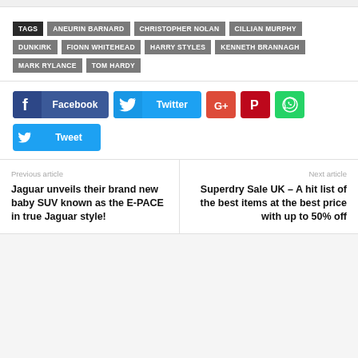TAGS | ANEURIN BARNARD | CHRISTOPHER NOLAN | CILLIAN MURPHY | DUNKIRK | FIONN WHITEHEAD | HARRY STYLES | KENNETH BRANNAGH | MARK RYLANCE | TOM HARDY
[Figure (infographic): Social sharing buttons: Facebook, Twitter, Google+, Pinterest, WhatsApp, and a Tweet button]
Previous article
Jaguar unveils their brand new baby SUV known as the E-PACE in true Jaguar style!
Next article
Superdry Sale UK – A hit list of the best items at the best price with up to 50% off